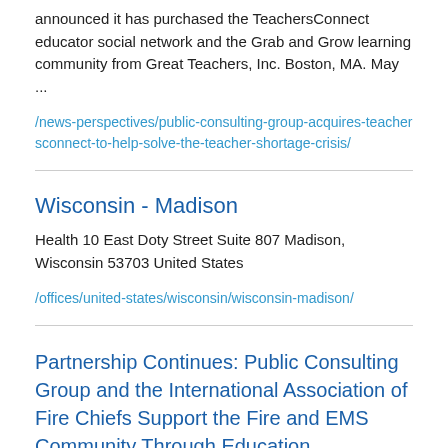announced it has purchased the TeachersConnect educator social network and the Grab and Grow learning community from Great Teachers, Inc. Boston, MA. May ...
/news-perspectives/public-consulting-group-acquires-teachersconnect-to-help-solve-the-teacher-shortage-crisis/
Wisconsin - Madison
Health 10 East Doty Street Suite 807 Madison, Wisconsin 53703 United States
/offices/united-states/wisconsin/wisconsin-madison/
Partnership Continues: Public Consulting Group and the International Association of Fire Chiefs Support the Fire and EMS Community Through Education